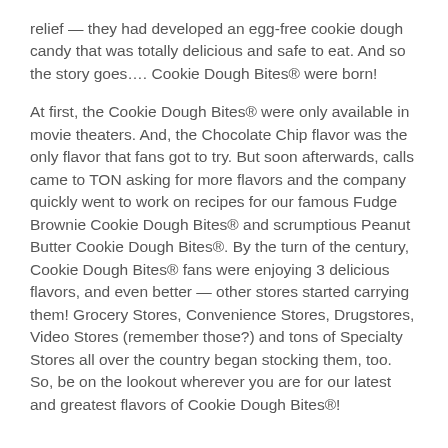relief — they had developed an egg-free cookie dough candy that was totally delicious and safe to eat. And so the story goes…. Cookie Dough Bites® were born!
At first, the Cookie Dough Bites® were only available in movie theaters. And, the Chocolate Chip flavor was the only flavor that fans got to try. But soon afterwards, calls came to TON asking for more flavors and the company quickly went to work on recipes for our famous Fudge Brownie Cookie Dough Bites® and scrumptious Peanut Butter Cookie Dough Bites®. By the turn of the century, Cookie Dough Bites® fans were enjoying 3 delicious flavors, and even better — other stores started carrying them! Grocery Stores, Convenience Stores, Drugstores, Video Stores (remember those?) and tons of Specialty Stores all over the country began stocking them, too. So, be on the lookout wherever you are for our latest and greatest flavors of Cookie Dough Bites®!